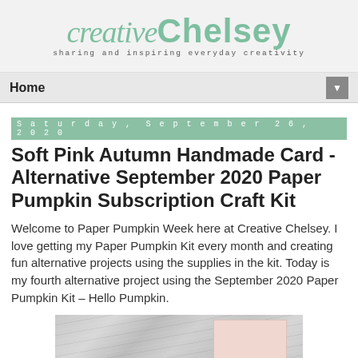creative Chelsey – sharing and inspiring everyday creativity
Home
Saturday, September 26, 2020
Soft Pink Autumn Handmade Card - Alternative September 2020 Paper Pumpkin Subscription Craft Kit
Welcome to Paper Pumpkin Week here at Creative Chelsey. I love getting my Paper Pumpkin Kit every month and creating fun alternative projects using the supplies in the kit. Today is my fourth alternative project using the September 2020 Paper Pumpkin Kit – Hello Pumpkin.
[Figure (photo): A pink handmade card on a gray wood-textured background]